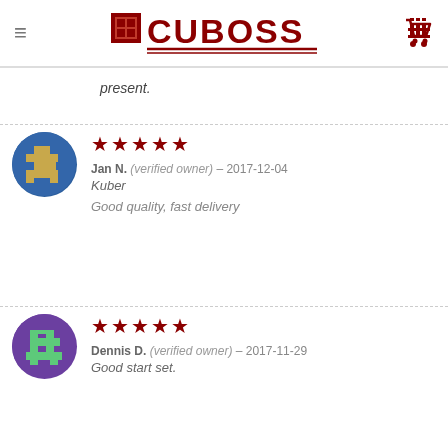[Figure (logo): CUBOSS logo with cube icon in dark red, with double underline, and hamburger menu icon on left and shopping cart icon on right]
present.
★★★★★ Jan N. (verified owner) – 2017-12-04 Kuber Good quality, fast delivery
★★★★★ Dennis D. (verified owner) – 2017-11-29 Good start set.